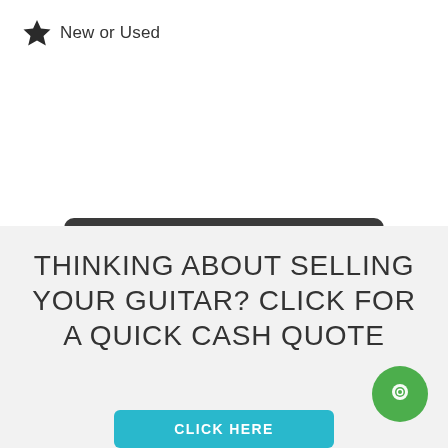New or Used
SELL B.C RICH GUITAR »
THINKING ABOUT SELLING YOUR GUITAR? CLICK FOR A QUICK CASH QUOTE
CLICK HERE